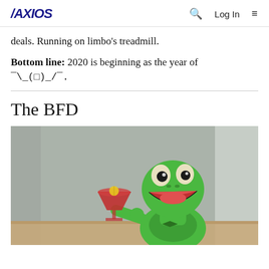AXIOS | Q  Log In  ≡
deals. Running on limbo's treadmill.
Bottom line: 2020 is beginning as the year of ¯\_(ツ)_/¯.
The BFD
[Figure (photo): Kermit the Frog holding a red drink/cocktail glass, looking upward with mouth open, set against a blurred indoor background. Green Muppet character in a warm/celebratory pose.]